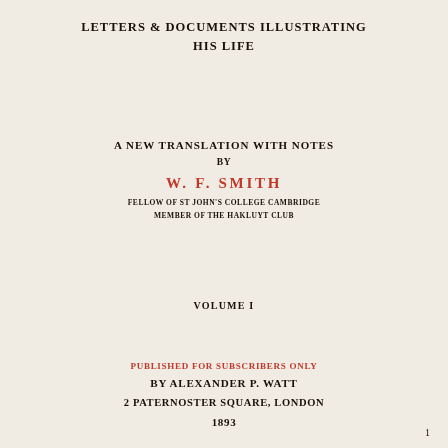LETTERS & DOCUMENTS ILLUSTRATING HIS LIFE
A NEW TRANSLATION WITH NOTES
BY
W. F. SMITH
FELLOW OF ST JOHN'S COLLEGE CAMBRIDGE
MEMBER OF THE HAKLUYT CLUB
VOLUME I
PUBLISHED FOR SUBSCRIBERS ONLY
BY ALEXANDER P. WATT
2 PATERNOSTER SQUARE, LONDON
1893
1